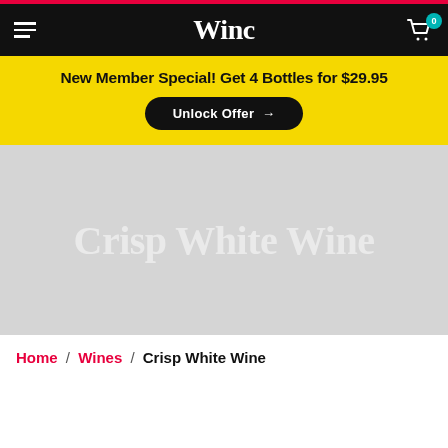Winc
New Member Special! Get 4 Bottles for $29.95
Unlock Offer →
[Figure (other): Hero banner with light gray background and large faded white text reading 'Crisp White Wine']
Home / Wines / Crisp White Wine